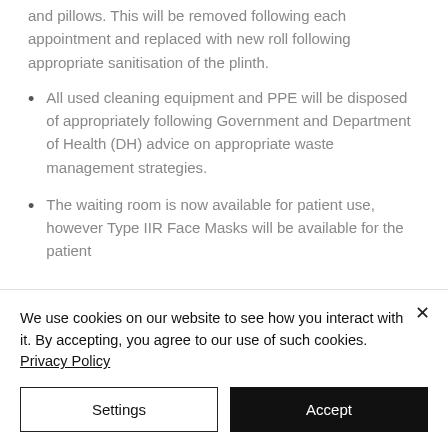and pillows. This will be removed following each appointment and replaced with new roll following appropriate sanitisation of the plinth.
All used cleaning equipment and PPE will be disposed of appropriately following Government and Department of Health (DH) advice on appropriate waste management strategies.
The waiting room is now available for patient use, however Type IIR Face Masks will be available for the patient
We use cookies on our website to see how you interact with it. By accepting, you agree to our use of such cookies. Privacy Policy
Settings
Accept